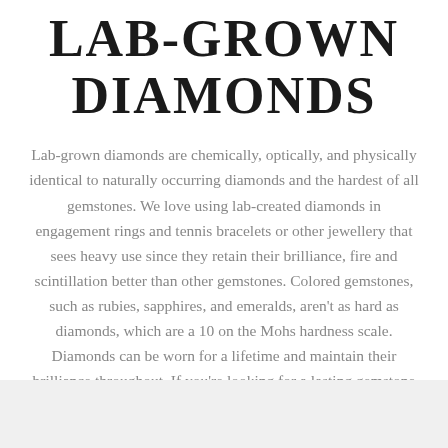LAB-GROWN DIAMONDS
Lab-grown diamonds are chemically, optically, and physically identical to naturally occurring diamonds and the hardest of all gemstones. We love using lab-created diamonds in engagement rings and tennis bracelets or other jewellery that sees heavy use since they retain their brilliance, fire and scintillation better than other gemstones. Colored gemstones, such as rubies, sapphires, and emeralds, aren't as hard as diamonds, which are a 10 on the Mohs hardness scale. Diamonds can be worn for a lifetime and maintain their brilliance throughout. If you're looking for a lasting gemstone choice for yourself or a loved one, created diamonds are one of your best options.
Shop Lab Grown Diamonds